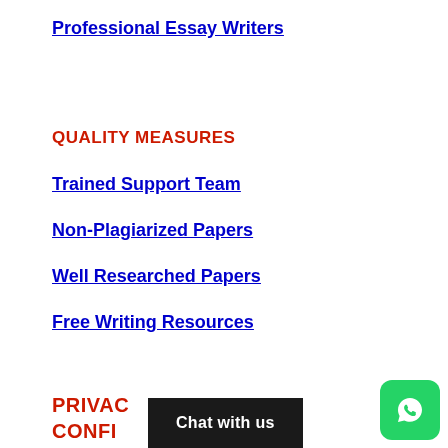Professional Essay Writers
QUALITY MEASURES
Trained Support Team
Non-Plagiarized Papers
Well Researched Papers
Free Writing Resources
PRIVACY CONFID…
Chat with us